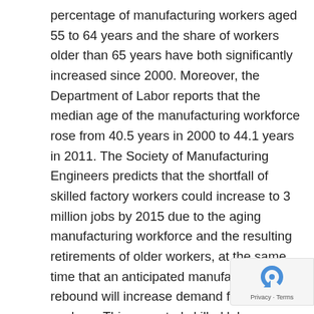percentage of manufacturing workers aged 55 to 64 years and the share of workers older than 65 years have both significantly increased since 2000. Moreover, the Department of Labor reports that the median age of the manufacturing workforce rose from 40.5 years in 2000 to 44.1 years in 2011. The Society of Manufacturing Engineers predicts that the shortfall of skilled factory workers could increase to 3 million jobs by 2015 due to the aging manufacturing workforce and the resulting retirements of older workers, at the same time that an anticipated manufacturing rebound will increase demand for skilled workers. This expected skilled labor shortfall is reinforced by BCG research that finds 37 percent of manufacturers who had shifted manufacturing to the United States from another country cited better access to a skilled workforce as a strong factor in their decision; only 8 percent cited this as a reason for